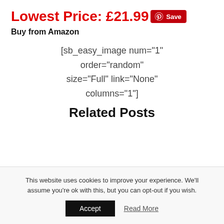Lowest Price: £21.99  Save
Buy from Amazon
[sb_easy_image num="1" order="random" size="Full" link="None" columns="1"]
Related Posts
This website uses cookies to improve your experience. We'll assume you're ok with this, but you can opt-out if you wish.
Accept   Read More